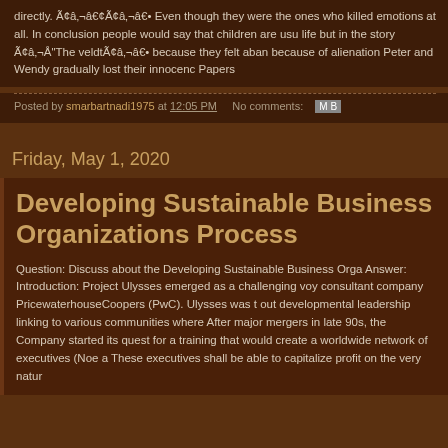directly. Ã¢â‚¬â€¢Ã¢â‚¬â€• Even though they were the ones who killed emotions at all. In conclusion people would say that children are usually life but in the story Ã¢â‚¬Å"The veldtÃ¢â‚¬â€• because they felt abandoned because of alienation Peter and Wendy gradually lost their innocence. Papers
Posted by smarbartnadi1975 at 12:05 PM   No comments:
Friday, May 1, 2020
Developing Sustainable Business Organizations Process
Question: Discuss about the Developing Sustainable Business Organizations Process. Answer: Introduction: Project Ulysses emerged as a challenging voyage for the consultant company PricewaterhouseCoopers (PwC). Ulysses was to carry out developmental leadership linking to various communities where leaders After major mergers in late 90s, the Company started its quest for a training that would create a worldwide network of executives (Noe a These executives shall be able to capitalize profit on the very nature